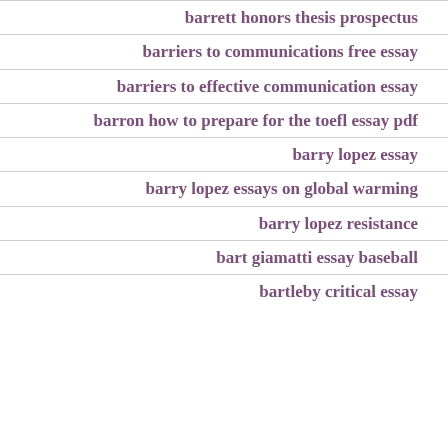barrett honors thesis prospectus
barriers to communications free essay
barriers to effective communication essay
barron how to prepare for the toefl essay pdf
barry lopez essay
barry lopez essays on global warming
barry lopez resistance
bart giamatti essay baseball
bartleby critical essay